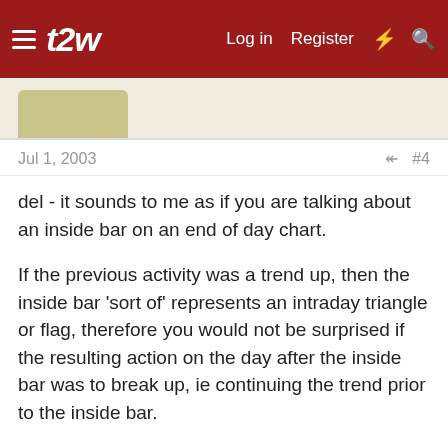t2w — Log in  Register
[Figure (other): User avatar placeholder — tan/khaki colored rounded rectangle with a downward pointer triangle beneath it]
Jul 1, 2003  #4
del - it sounds to me as if you are talking about an inside bar on an end of day chart.
If the previous activity was a trend up, then the inside bar 'sort of' represents an intraday triangle or flag, therefore you would not be surprised if the resulting action on the day after the inside bar was to break up, ie continuing the trend prior to the inside bar.
But ... you do get inside bars at awkward places on a chart, and many people just play the breakout, irrespective of whether it goes up or down.
Perhaps the most well-known inside bar play is the NR7 - this means the narrowest range of seven days. This was